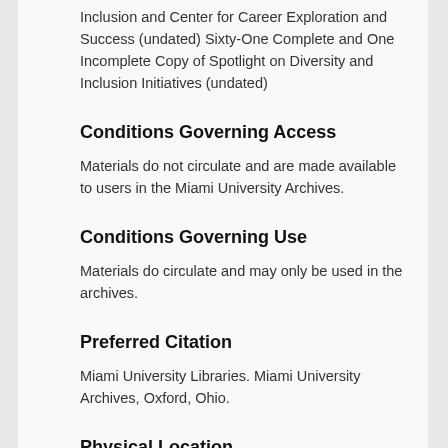Inclusion and Center for Career Exploration and Success (undated) Sixty-One Complete and One Incomplete Copy of Spotlight on Diversity and Inclusion Initiatives (undated)
Conditions Governing Access
Materials do not circulate and are made available to users in the Miami University Archives.
Conditions Governing Use
Materials do circulate and may only be used in the archives.
Preferred Citation
Miami University Libraries. Miami University Archives, Oxford, Ohio.
Physical Location
Miami University Archives, King Library, 3rd Floor, Walter Havighurst Special Collections, Miami University, Oxford, Ohio.